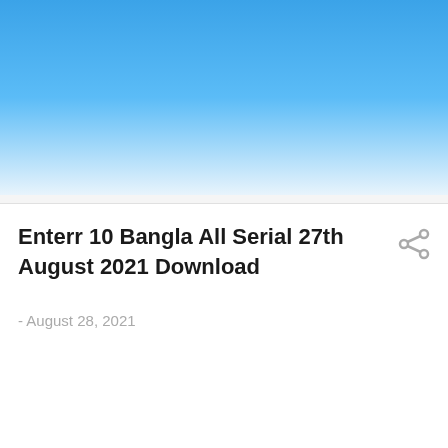[Figure (illustration): Blue gradient header background transitioning from medium blue at top to light blue/white at bottom]
Enterr 10 Bangla All Serial 27th August 2021 Download
- August 28, 2021